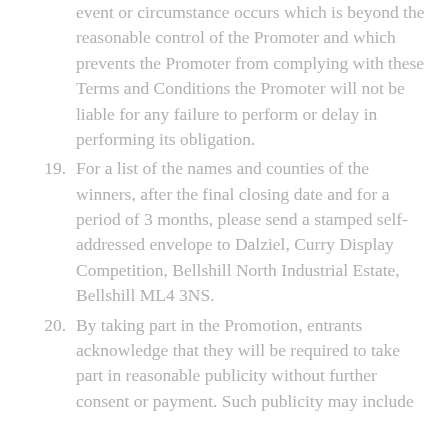event or circumstance occurs which is beyond the reasonable control of the Promoter and which prevents the Promoter from complying with these Terms and Conditions the Promoter will not be liable for any failure to perform or delay in performing its obligation.
19. For a list of the names and counties of the winners, after the final closing date and for a period of 3 months, please send a stamped self-addressed envelope to Dalziel, Curry Display Competition, Bellshill North Industrial Estate, Bellshill ML4 3NS.
20. By taking part in the Promotion, entrants acknowledge that they will be required to take part in reasonable publicity without further consent or payment. Such publicity may include